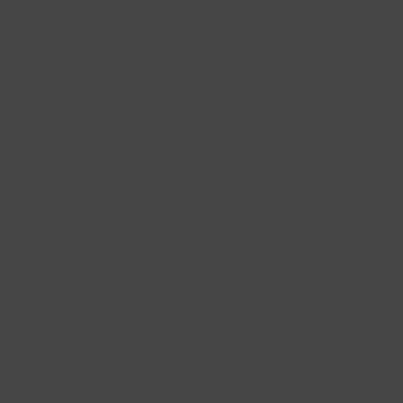that I got from them was t... about budget items . That... ceiling that took my breath away.
The future looks pretty bleak for these... cancer the rest seemed like they were...
Dan on September 9, 2014 at 9:41 pm
Reply
[Figure (photo): Small avatar/profile image placeholder with green triangle shape]
I got enrolled in my homet... family member who paid n... member died (as did most... Long before I even joined,... Lions club. I decided to transfer my m... stereotypical smoky dive bar good ol'... doorbell because I didn't have a key c... the door and rudely asked me 'can I h... a beer. And she said this was a privat... me I am a member and stuck my mem... reluctantly and the few old dudes at th... word. Not exactly a warm welcome. T... never show up to anything, and never...